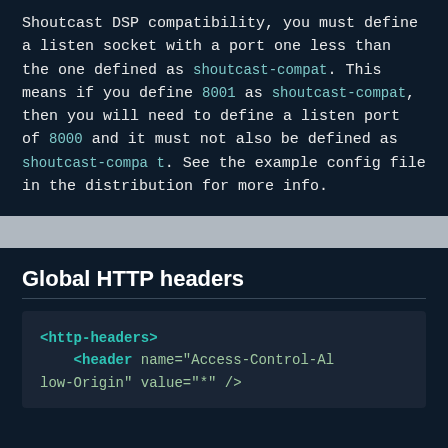Shoutcast DSP compatibility, you must define a listen socket with a port one less than the one defined as shoutcast-compat. This means if you define 8001 as shoutcast-compat, then you will need to define a listen port of 8000 and it must not also be defined as shoutcast-compat. See the example config file in the distribution for more info.
Global HTTP headers
[Figure (screenshot): XML code block showing <http-headers> element with a <header> child element having name="Access-Control-Allow-Origin" value="*" />]